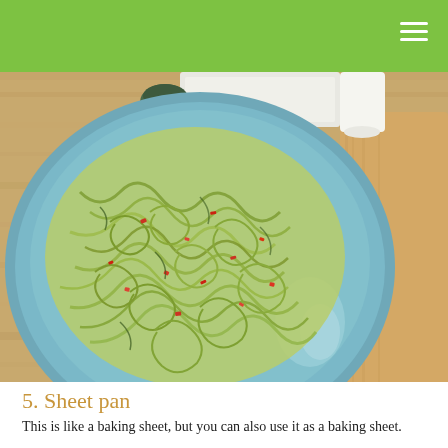[Figure (photo): A blue ceramic plate filled with spiralized zucchini noodles (zoodles) topped with red chili flakes, placed on a wooden cutting board. Kitchen background visible.]
5. Sheet pan
This is like a baking sheet, but you can also use it as a baking sheet.